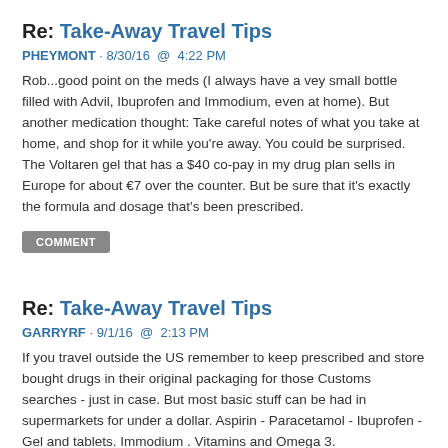Re: Take-Away Travel Tips
PHEYMONT · 8/30/16  @  4:22 PM
Rob...good point on the meds (I always have a vey small bottle filled with Advil, Ibuprofen and Immodium, even at home). But another medication thought: Take careful notes of what you take at home, and shop for it while you're away. You could be surprised. The Voltaren gel that has a $40 co-pay in my drug plan sells in Europe for about €7 over the counter. But be sure that it's exactly the formula and dosage that's been prescribed.
COMMENT
Re: Take-Away Travel Tips
GARRYRF · 9/1/16  @  2:13 PM
If you travel outside the US remember to keep prescribed and store bought drugs in their original packaging for those Customs searches - just in case. But most basic stuff can be had in supermarkets for under a dollar. Aspirin - Paracetamol - Ibuprofen - Gel and tablets. Immodium . Vitamins and Omega 3.
COMMENT